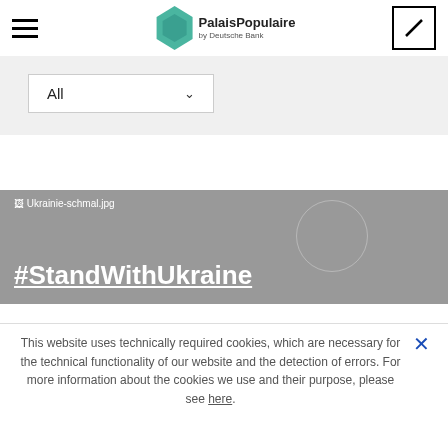PalaisPopulaire by Deutsche Bank
[Figure (screenshot): Filter bar with dropdown showing 'All' and a chevron, on light gray background]
[Figure (photo): Banner with gray background showing broken image icon labeled 'Ukrainie-schmal.jpg' and bold white underlined text '#StandWithUkraine']
This website uses technically required cookies, which are necessary for the technical functionality of our website and the detection of errors. For more information about the cookies we use and their purpose, please see here.